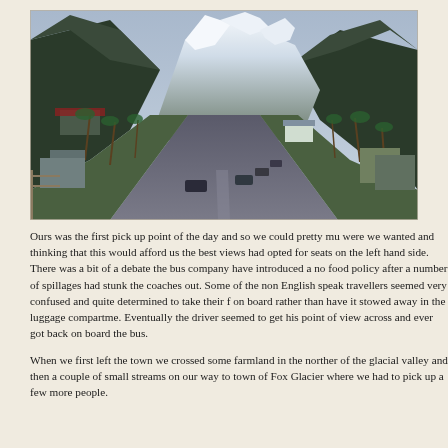[Figure (photo): A street view of a small town with a long straight road leading toward snow-capped mountains. Palm trees and low buildings line the sides of the road. Green forested hills flank the mountains. Cars are parked along the road.]
Ours was the first pick up point of the day and so we could pretty mu were we wanted and thinking that this would afford us the best views had opted for seats on the left hand side. There was a bit of a debate the bus company have introduced a no food policy after a number of spillages had stunk the coaches out. Some of the non English speak travellers seemed very confused and quite determined to take their f on board rather than have it stowed away in the luggage compartme. Eventually the driver seemed to get his point of view across and ever got back on board the bus.
When we first left the town we crossed some farmland in the norther of the glacial valley and then a couple of small streams on our way to town of Fox Glacier where we had to pick up a few more people.